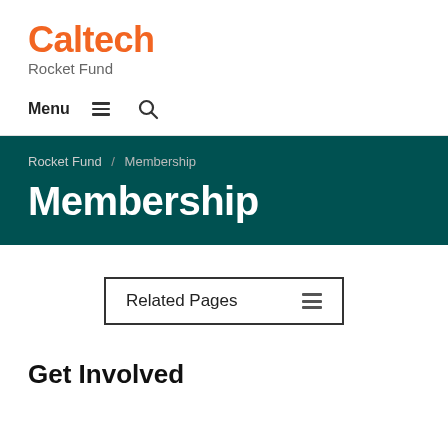Caltech
Rocket Fund
Menu
Membership
Related Pages
Get Involved